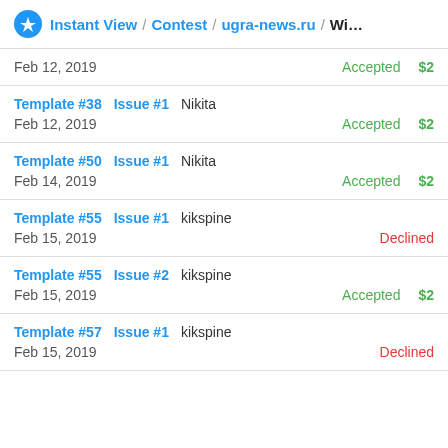Instant View / Contest / ugra-news.ru / Wi...
| Template | Issue | User | Date | Status | Prize |
| --- | --- | --- | --- | --- | --- |
|  |  |  | Feb 12, 2019 | Accepted | $2 |
| Template #38 | Issue #1 | Nikita | Feb 12, 2019 | Accepted | $2 |
| Template #50 | Issue #1 | Nikita | Feb 14, 2019 | Accepted | $2 |
| Template #55 | Issue #1 | kikspine | Feb 15, 2019 | Declined |  |
| Template #55 | Issue #2 | kikspine | Feb 15, 2019 | Accepted | $2 |
| Template #57 | Issue #1 | kikspine | Feb 15, 2019 | Declined |  |